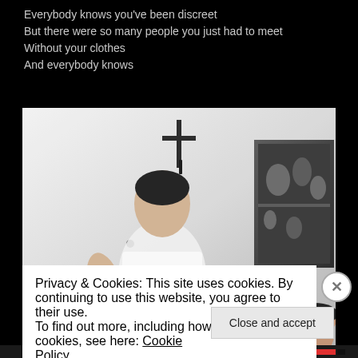Everybody knows you've been discreet
But there were so many people you just had to meet
Without your clothes
And everybody knows
[Figure (photo): Black and white photograph of a man in a white t-shirt sitting on a bed or floor, looking to the side. A cross is visible on the wall behind him. On the right side, a dark painting or artwork is visible on the wall, and a second person is partially visible in the lower right corner.]
Privacy & Cookies: This site uses cookies. By continuing to use this website, you agree to their use.
To find out more, including how to control cookies, see here: Cookie Policy
Close and accept